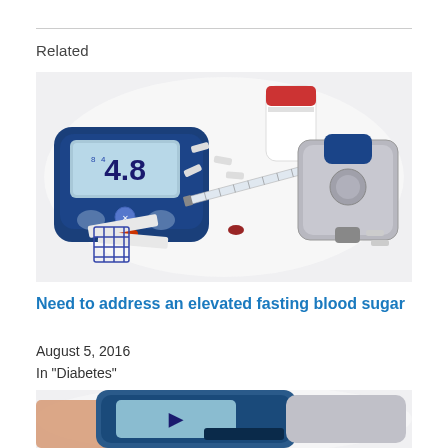Related
[Figure (photo): Diabetes medical equipment: blood glucose meter showing 4.8, insulin syringe, lancet device, test strips, and a drop of blood on white background]
Need to address an elevated fasting blood sugar
August 5, 2016
In "Diabetes"
[Figure (photo): Partial view of a blood glucose meter being held by a hand, cropped at bottom of page]